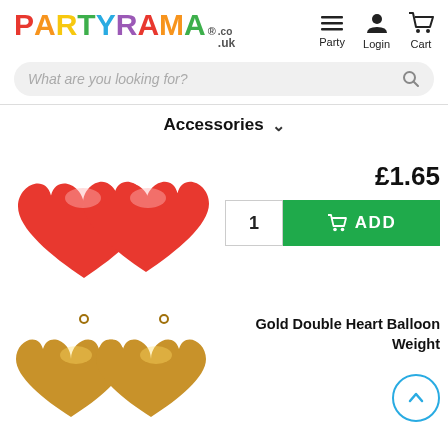[Figure (logo): Partyrama.co.uk logo with multicolor letters and navigation icons for Party, Login, Cart]
[Figure (screenshot): Search bar with placeholder text 'What are you looking for?']
Accessories
[Figure (photo): Two red double heart balloon weights]
£1.65
[Figure (screenshot): Quantity 1 and green ADD button]
Gold Double Heart Balloon Weight
[Figure (photo): Two gold double heart balloon weights]